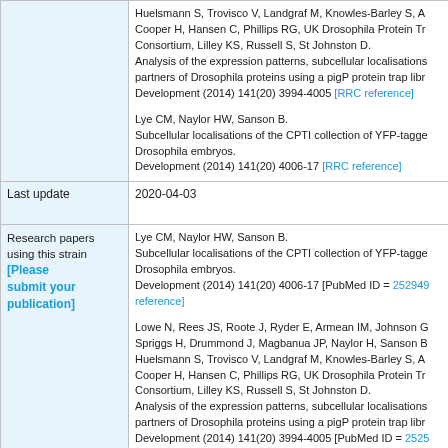| Field | Content |
| --- | --- |
| (publications continued) | Huelsmann S, Trovisco V, Landgraf M, Knowles-Barley S, A... Cooper H, Hansen C, Phillips RG, UK Drosophila Protein Tr... Consortium, Lilley KS, Russell S, St Johnston D. Analysis of the expression patterns, subcellular localisations partners of Drosophila proteins using a pigP protein trap libr... Development (2014) 141(20) 3994-4005 [RRC reference]

Lye CM, Naylor HW, Sanson B. Subcellular localisations of the CPTI collection of YFP-tagge... Drosophila embryos. Development (2014) 141(20) 4006-17 [RRC reference] |
| Last update | 2020-04-03 |
| Research papers using this strain [Please submit your publication] | Lye CM, Naylor HW, Sanson B. Subcellular localisations of the CPTI collection of YFP-tagge... Drosophila embryos. Development (2014) 141(20) 4006-17 [PubMed ID = 25294... reference]

Lowe N, Rees JS, Roote J, Ryder E, Armean IM, Johnson G... Spriggs H, Drummond J, Magbanua JP, Naylor H, Sanson B... Huelsmann S, Trovisco V, Landgraf M, Knowles-Barley S, A... Cooper H, Hansen C, Phillips RG, UK Drosophila Protein Tr... Consortium, Lilley KS, Russell S, St Johnston D. Analysis of the expression patterns, subcellular localisations partners of Drosophila proteins using a pigP protein trap libr... Development (2014) 141(20) 3994-4005 [PubMed ID = 2525... reference] |